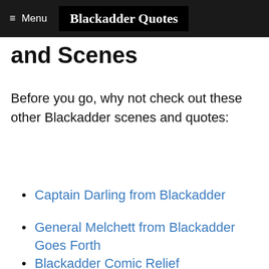Menu | Blackadder Quotes
and Scenes
Before you go, why not check out these other Blackadder scenes and quotes:
Captain Darling from Blackadder
General Melchett from Blackadder Goes Forth
Blackadder Comic Relief
Baldrick Quotes